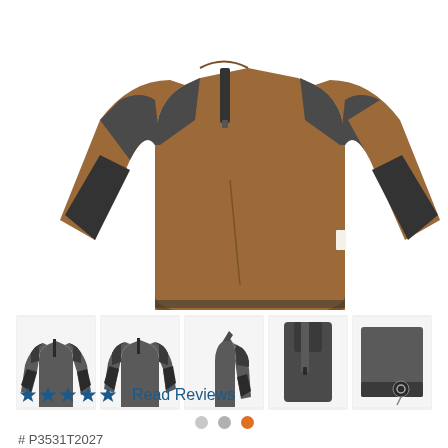[Figure (photo): Main product photo of a brown/tan pullover jacket with dark gray/black contrast panels on shoulders, elbows, and lower sleeves. Half-zip front. Shot against white background, cropped to torso area.]
[Figure (photo): Row of 5 thumbnail images of the same jacket in dark gray colorway: front-left view, front view, side view, close-up of collar/hood area, and close-up of hem/zipper pull detail.]
[Figure (other): Three color selector dots: light gray, medium gray, and orange (currently selected).]
★★★★★Read Reviews
# P3531T2027